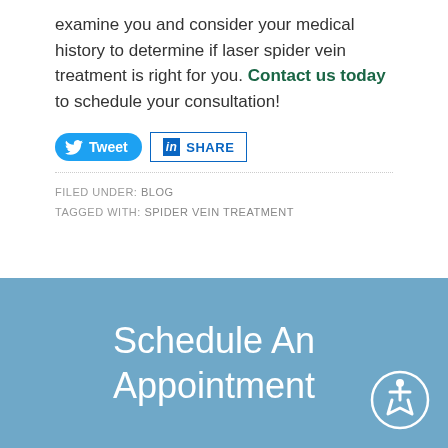examine you and consider your medical history to determine if laser spider vein treatment is right for you. Contact us today to schedule your consultation!
[Figure (infographic): Social sharing buttons: Tweet (Twitter) and Share (LinkedIn)]
FILED UNDER: BLOG
TAGGED WITH: SPIDER VEIN TREATMENT
Schedule An Appointment